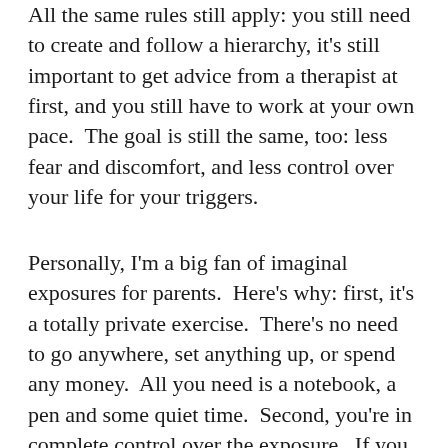All the same rules still apply: you still need to create and follow a hierarchy, it's still important to get advice from a therapist at first, and you still have to work at your own pace.  The goal is still the same, too: less fear and discomfort, and less control over your life for your triggers.
Personally, I'm a big fan of imaginal exposures for parents.  Here's why: first, it's a totally private exercise.  There's no need to go anywhere, set anything up, or spend any money.  All you need is a notebook, a pen and some quiet time.  Second, you're in complete control over the exposure.  If you don't like what you're writing, you can stop and discard the paper, or you can pause and come